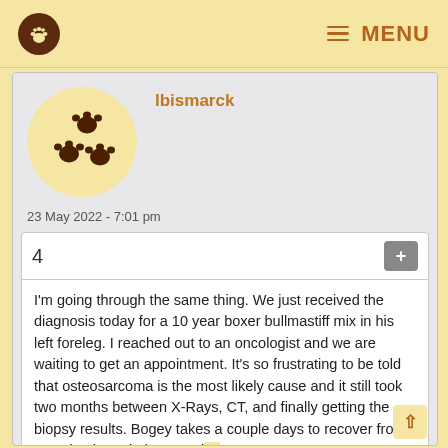MENU
lbismarck
23 May 2022 - 7:01 pm
4
I'm going through the same thing. We just received the diagnosis today for a 10 year boxer bullmastiff mix in his left foreleg. I reached out to an oncologist and we are waiting to get an appointment. It's so frustrating to be told that osteosarcoma is the most likely cause and it still took two months between X-Rays, CT, and finally getting the biopsy results. Bogey takes a couple days to recover from anesthesia and I hate putting him through it. But it looks like he will need mild sedation at least for all treatments. Hopefully we